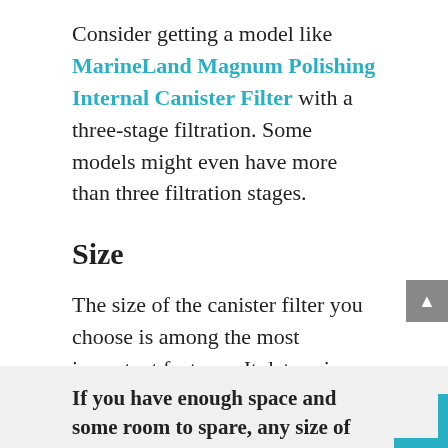Consider getting a model like MarineLand Magnum Polishing Internal Canister Filter with a three-stage filtration. Some models might even have more than three filtration stages.
Size
The size of the canister filter you choose is among the most important features. It determines how much space the filter occupies in your cabinet.
If you have enough space and some room to spare, any size of the canister filter will